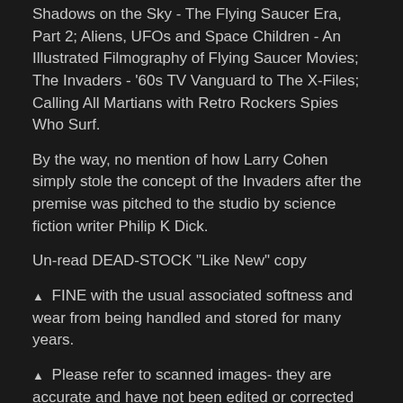Shadows on the Sky - The Flying Saucer Era, Part 2; Aliens, UFOs and Space Children - An Illustrated Filmography of Flying Saucer Movies; The Invaders - '60s TV Vanguard to The X-Files; Calling All Martians with Retro Rockers Spies Who Surf.
By the way, no mention of how Larry Cohen simply stole the concept of the Invaders after the premise was pitched to the studio by science fiction writer Philip K Dick.
Un-read DEAD-STOCK "Like New" copy
▲ FINE with the usual associated softness and wear from being handled and stored for many years.
▲ Please refer to scanned images- they are accurate and have not been edited or corrected and, as always, are worth at least a thousand words.
▲ Use TITLE, KEYWORD, TERM, BRAND, CREATOR, ARTIST, NAME or CHARACTER name in our STORE search tab to find other items.
▲ Additional images & information available...